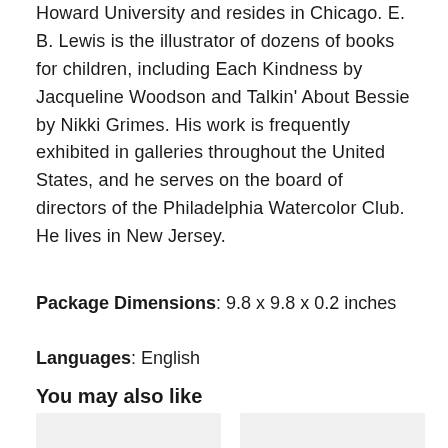Howard University and resides in Chicago. E. B. Lewis is the illustrator of dozens of books for children, including Each Kindness by Jacqueline Woodson and Talkin' About Bessie by Nikki Grimes. His work is frequently exhibited in galleries throughout the United States, and he serves on the board of directors of the Philadelphia Watercolor Club. He lives in New Jersey.
Package Dimensions: 9.8 x 9.8 x 0.2 inches
Languages: English
You may also like